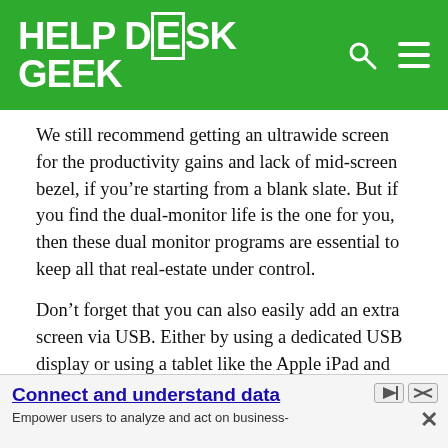HELP DESK GEEK
We still recommend getting an ultrawide screen for the productivity gains and lack of mid-screen bezel, if you’re starting from a blank slate. But if you find the dual-monitor life is the one for you, then these dual monitor programs are essential to keep all that real-estate under control.
Don’t forget that you can also easily add an extra screen via USB. Either by using a dedicated USB display or using a tablet like the Apple iPad and an app like DuetDisplay. It’s a great trick if you don’t permanently need dual monitors, or want to benefit from that setup on the road.
[Figure (other): Advertisement banner: Connect and understand data. Empower users to analyze and act on business-]